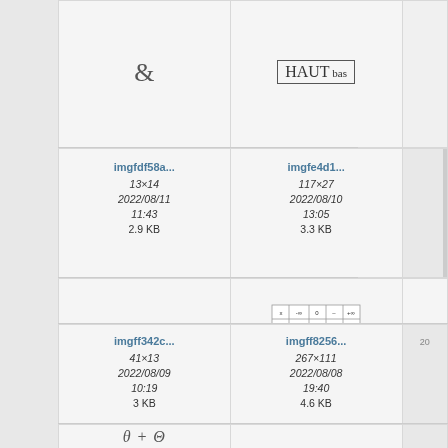[Figure (screenshot): File browser grid showing math/formula image thumbnails. Row 1: cell with ampersand symbol, cell with boxed 'HAUT bas' text, partial third cell. Row 2: imgfdf58a... (13x14, 2022/08/11 11:43, 2.9 KB), imgfe4d1... (117x27, 2022/08/10 13:05, 3.3 KB), partial third cell. Row 3: p×r formula, variation table image, partial PAR text. Row 4: imgff342c... (41x13, 2022/08/09 10:19, 3 KB), imgff8256... (267x111, 2022/08/08 19:40, 4.6 KB), partial third cell. Row 5 (partial): theta+Theta formula.]